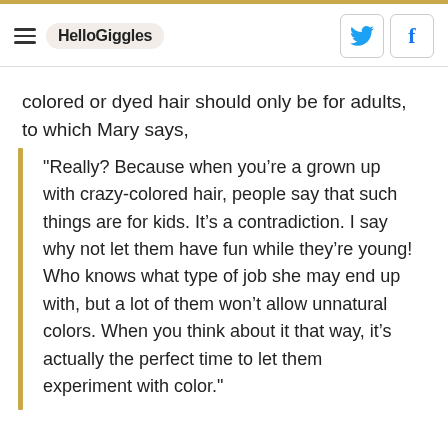HelloGiggles
colored or dyed hair should only be for adults, to which Mary says,
"Really? Because when you’re a grown up with crazy-colored hair, people say that such things are for kids. It’s a contradiction. I say why not let them have fun while they’re young! Who knows what type of job she may end up with, but a lot of them won’t allow unnatural colors. When you think about it that way, it’s actually the perfect time to let them experiment with color."